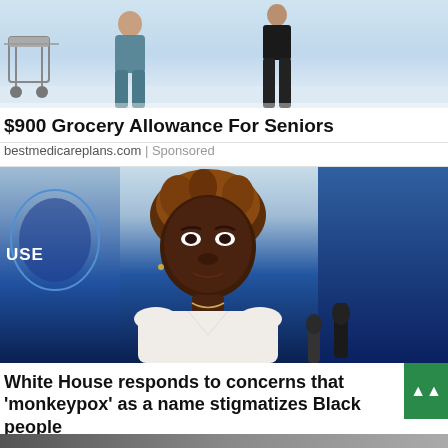[Figure (photo): Hospital hallway scene with a cart and people walking]
$900 Grocery Allowance For Seniors
bestmedicareplans.com | Sponsored
[Figure (photo): Woman at White House briefing room podium with microphones, blue background with seal]
White House responds to concerns that ‘monkeypox’ as a name stigmatizes Black people
The Grio | Sponsored